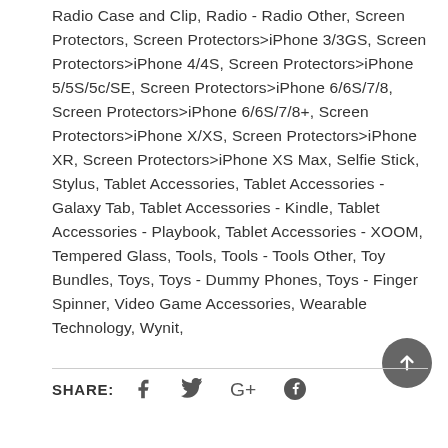Radio Case and Clip, Radio - Radio Other, Screen Protectors, Screen Protectors>iPhone 3/3GS, Screen Protectors>iPhone 4/4S, Screen Protectors>iPhone 5/5S/5c/SE, Screen Protectors>iPhone 6/6S/7/8, Screen Protectors>iPhone 6/6S/7/8+, Screen Protectors>iPhone X/XS, Screen Protectors>iPhone XR, Screen Protectors>iPhone XS Max, Selfie Stick, Stylus, Tablet Accessories, Tablet Accessories - Galaxy Tab, Tablet Accessories - Kindle, Tablet Accessories - Playbook, Tablet Accessories - XOOM, Tempered Glass, Tools, Tools - Tools Other, Toy Bundles, Toys, Toys - Dummy Phones, Toys - Finger Spinner, Video Game Accessories, Wearable Technology, Wynit,
SHARE: [facebook] [twitter] [google+] [pinterest]